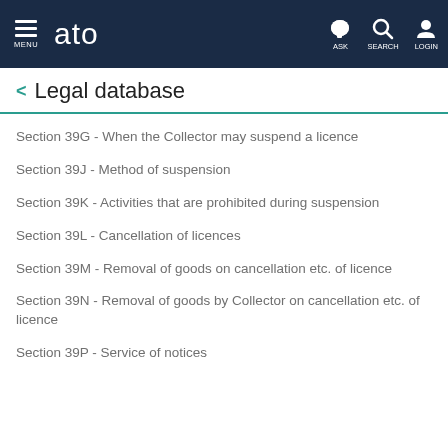MENU  ato  ASK  SEARCH  LOGIN
Legal database
Section 39G - When the Collector may suspend a licence
Section 39J - Method of suspension
Section 39K - Activities that are prohibited during suspension
Section 39L - Cancellation of licences
Section 39M - Removal of goods on cancellation etc. of licence
Section 39N - Removal of goods by Collector on cancellation etc. of licence
Section 39P - Service of notices